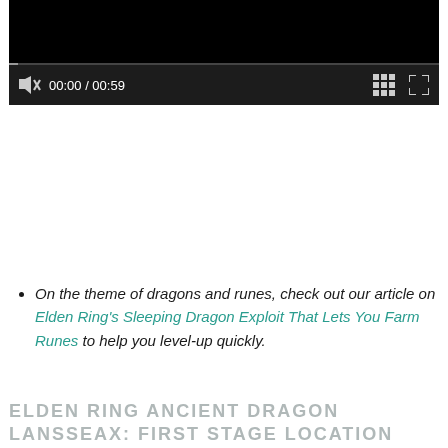[Figure (screenshot): Video player with black background showing a loading/pause state, progress bar at top of controls, mute icon with X, time display 00:00 / 00:59, grid icon and fullscreen icon on the right]
On the theme of dragons and runes, check out our article on Elden Ring's Sleeping Dragon Exploit That Lets You Farm Runes to help you level-up quickly.
ELDEN RING ANCIENT DRAGON LANSSEAX: FIRST STAGE LOCATION